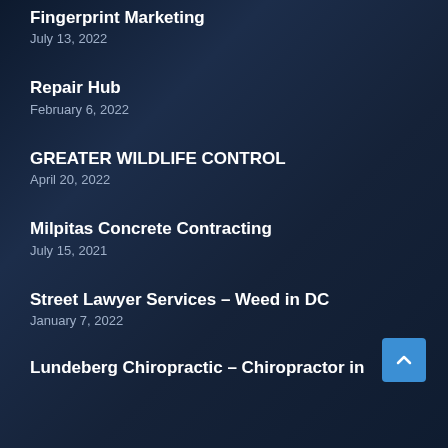Fingerprint Marketing
July 13, 2022
Repair Hub
February 6, 2022
GREATER WILDLIFE CONTROL
April 20, 2022
Milpitas Concrete Contracting
July 15, 2021
Street Lawyer Services – Weed in DC
January 7, 2022
Lundeberg Chiropractic – Chiropractor in